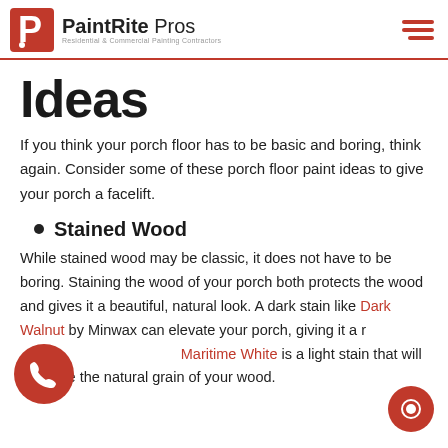PaintRite Pros — Residential & Commercial Painting Contractors
Ideas
If you think your porch floor has to be basic and boring, think again. Consider some of these porch floor paint ideas to give your porch a facelift.
Stained Wood
While stained wood may be classic, it does not have to be boring. Staining the wood of your porch both protects the wood and gives it a beautiful, natural look. A dark stain like Dark Walnut by Minwax can elevate your porch, giving it a rich, elegant look. Benjamin's Maritime White is a light stain that will enhance the natural grain of your wood.